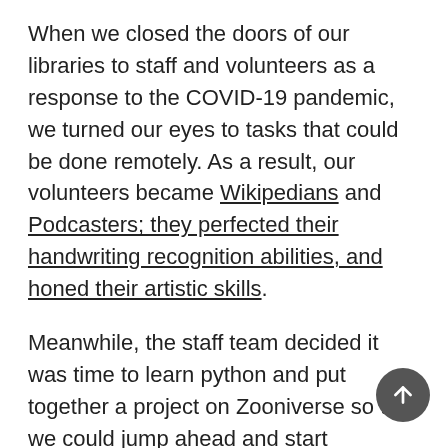When we closed the doors of our libraries to staff and volunteers as a response to the COVID-19 pandemic, we turned our eyes to tasks that could be done remotely. As a result, our volunteers became Wikipedians and Podcasters; they perfected their handwriting recognition abilities, and honed their artistic skills.
Meanwhile, the staff team decided it was time to learn python and put together a project on Zooniverse so that we could jump ahead and start collecting item-level metadata.